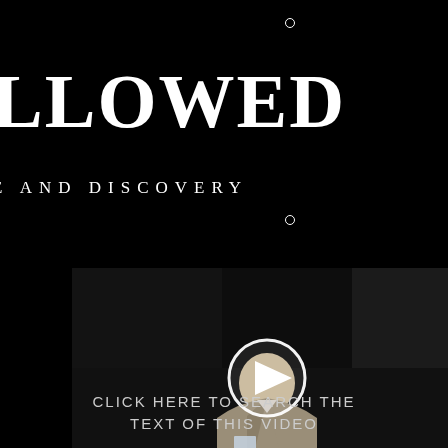LLOWED
E AND DISCOVERY
[Figure (screenshot): Video thumbnail showing a man in a light jacket speaking at a podium in a dark room, with a circular play button overlay in the center]
CLICK HERE TO SEARCH THE TEXT OF THIS VIDEO